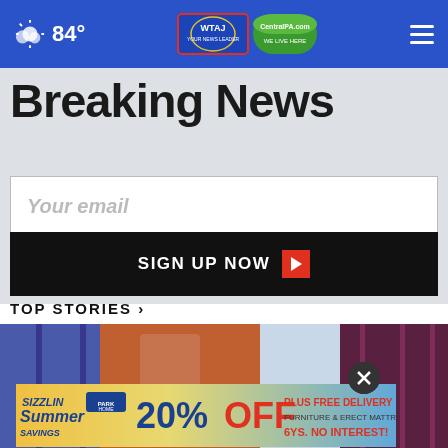84°
Breaking News
Your email
SIGN UP NOW
TOP STORIES ›
[Figure (photo): Casino slot machines photo, blurred blue and orange tones]
[Figure (photo): Advertisement banner: Sizzlin Summer Savings - Park Home - 20% OFF furniture & erect mattresses plus free delivery 6ys no interest]